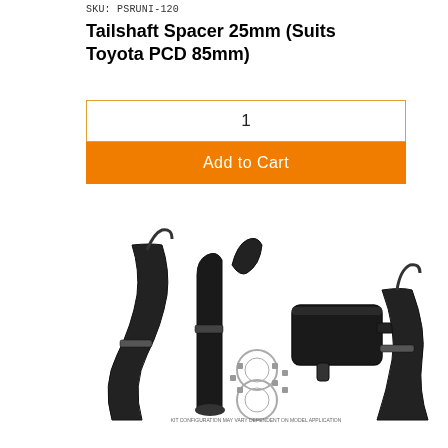SKU: PSRUNI-120
Tailshaft Spacer 25mm (Suits Toyota PCD 85mm)
1
Add to Cart
[Figure (photo): Exhaust system components including matte black pipes, muffler, gaskets and hardware laid out on white background. Small disclaimer text at bottom reads: KIT CONFIGURATION MAY VARY DEPENDENT ON MODEL APPLICATION]